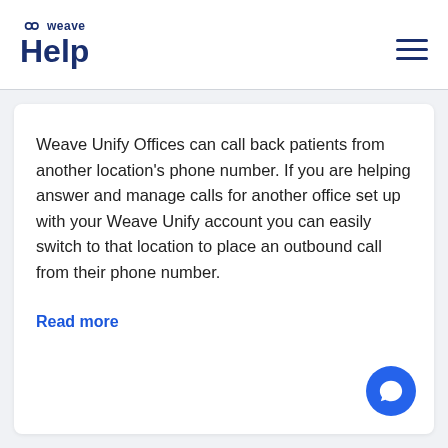weave Help
Weave Unify Offices can call back patients from another location's phone number. If you are helping answer and manage calls for another office set up with your Weave Unify account you can easily switch to that location to place an outbound call from their phone number.
Read more